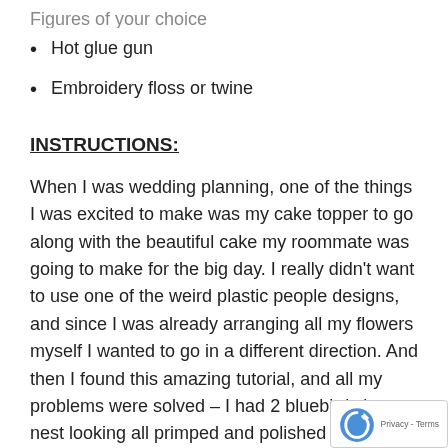Hot glue gun
Embroidery floss or twine
INSTRUCTIONS:
When I was wedding planning, one of the things I was excited to make was my cake topper to go along with the beautiful cake my roommate was going to make for the big day. I really didn't want to use one of the weird plastic people designs, and since I was already arranging all my flowers myself I wanted to go in a different direction. And then I found this amazing tutorial, and all my problems were solved – I had 2 bluebirds in a nest looking all primped and polished with their tiny top hat and veil! Today I will show you how to style a different pair of figurines sure to delight your guests: meet Dapper Velociraptor and Elegant T-Rex.